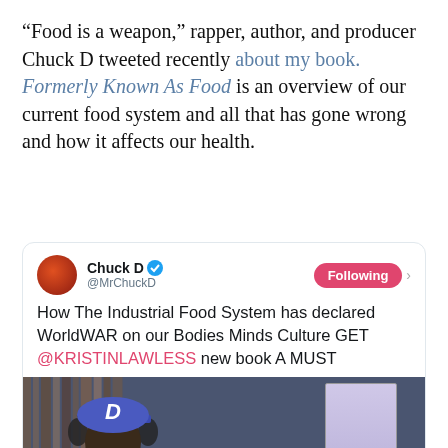“Food is a weapon,” rapper, author, and producer Chuck D tweeted recently about my book. Formerly Known As Food is an overview of our current food system and all that has gone wrong and how it affects our health.
[Figure (screenshot): Screenshot of a tweet by Chuck D (@MrChuckD) with a Following button. Tweet reads: How The Industrial Food System has declared WorldWAR on our Bodies Minds Culture GET @KRISTINLAWLESS new book A MUST. Below the text is an embedded image showing Chuck D wearing a blue cap with the letter D and headphones, next to a book cover reading FORMERLY KNOWN AS FOOD.]